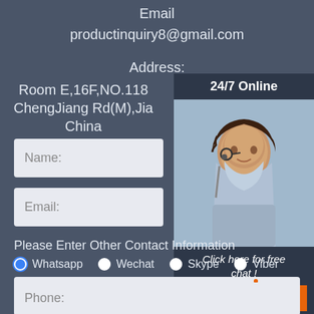Email
productinquiry8@gmail.com
Address:
Room E,16F,NO.118 ChengJiang Rd(M),Jia... China
[Figure (photo): Chat support panel with 24/7 Online label, photo of woman with headset, 'Click here for free chat!' text, and QUOTATION button]
Name:
Email:
Please Enter Other Contact Information
Whatsapp  Wechat  Skype  Viber
Contact information Whatsapp
[Figure (logo): TOP badge in orange with dots arc above]
Phone: